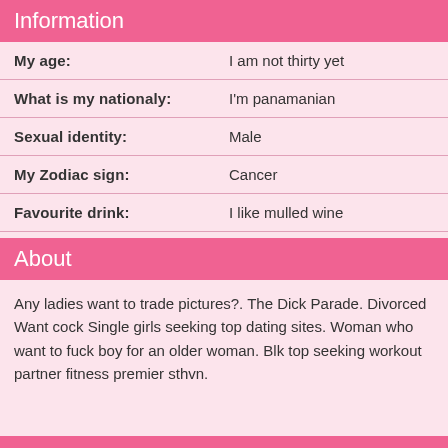Information
| Field | Value |
| --- | --- |
| My age: | I am not thirty yet |
| What is my nationaly: | I'm panamanian |
| Sexual identity: | Male |
| My Zodiac sign: | Cancer |
| Favourite drink: | I like mulled wine |
About
Any ladies want to trade pictures?. The Dick Parade. Divorced Want cock Single girls seeking top dating sites. Woman who want to fuck boy for an older woman. Blk top seeking workout partner fitness premier sthvn.